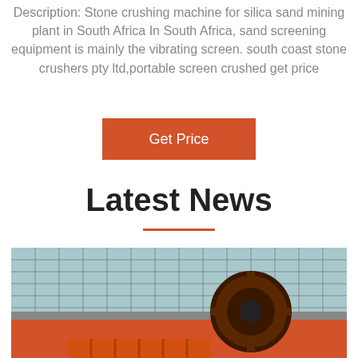Description: Stone crushing machine for silica sand mining plant in South Africa In South Africa, sand screening equipment is mainly the vibrating screen. south coast stone crushers pty ltd,portable screen crushed get price
Get Price
Latest News
[Figure (photo): Industrial stone crushing machinery with large gear/wheel mechanism, scaffolding structure in background, orange-colored equipment]